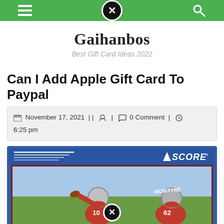Navigation bar with menu, close, and search icons
Gaihanbos
Best Gift Card Ideas 2022
Can I Add Apple Gift Card To Paypal
November 17, 2021 || 0 Comment | 6:25 pm
[Figure (photo): Score brand football trading card showing San Francisco 49ers quarterback throwing a pass, with player MCINTYRE (number 62) visible in background]